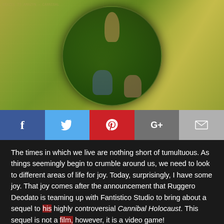[Figure (illustration): Cannibal Holocaust sequel video game promotional artwork showing jungle scene with circular composition featuring tribal warrior and modern characters with camera, birds, against a map background]
[Figure (infographic): Social media share bar with Facebook, Twitter, Pinterest, Google+, and Email buttons]
The times in which we live are nothing short of tumultuous. As things seemingly begin to crumble around us, we need to look to different areas of life for joy. Today, surprisingly, I have some joy. That joy comes after the announcement that Ruggero Deodato is teaming up with Fantistico Studio to bring about a sequel to his highly controversial Cannibal Holocaust. This sequel is not a film, however, it is a video game!